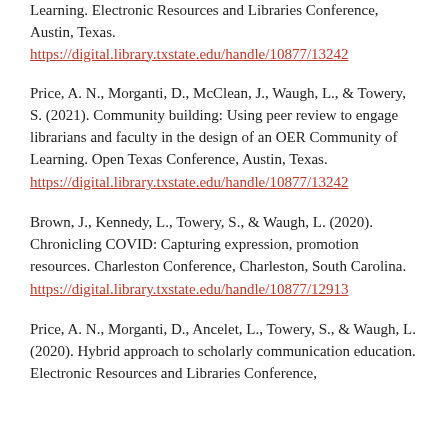Learning. Electronic Resources and Libraries Conference, Austin, Texas.
https://digital.library.txstate.edu/handle/10877/13242
Price, A. N., Morganti, D., McClean, J., Waugh, L., & Towery, S. (2021). Community building: Using peer review to engage librarians and faculty in the design of an OER Community of Learning. Open Texas Conference, Austin, Texas.
https://digital.library.txstate.edu/handle/10877/13242
Brown, J., Kennedy, L., Towery, S., & Waugh, L. (2020). Chronicling COVID: Capturing expression, promotion resources. Charleston Conference, Charleston, South Carolina.
https://digital.library.txstate.edu/handle/10877/12913
Price, A. N., Morganti, D., Ancelet, L., Towery, S., & Waugh, L. (2020). Hybrid approach to scholarly communication education. Electronic Resources and Libraries Conference,